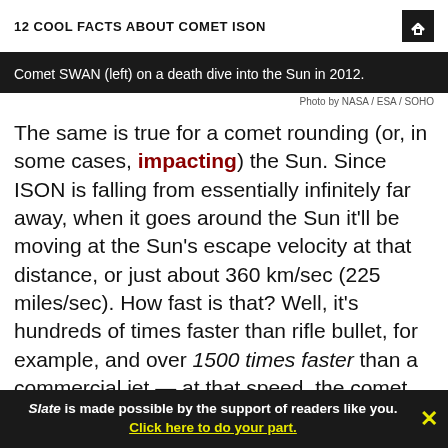12 COOL FACTS ABOUT COMET ISON
Comet SWAN (left) on a death dive into the Sun in 2012.
Photo by NASA / ESA / SOHO
The same is true for a comet rounding (or, in some cases, impacting) the Sun. Since ISON is falling from essentially infinitely far away, when it goes around the Sun it'll be moving at the Sun's escape velocity at that distance, or just about 360 km/sec (225 miles/sec). How fast is that? Well, it's hundreds of times faster than rifle bullet, for example, and over 1500 times faster than a commercial jet — at that speed, the comet would cross the continental United States in about 15
Slate is made possible by the support of readers like you. Click here to do your part.